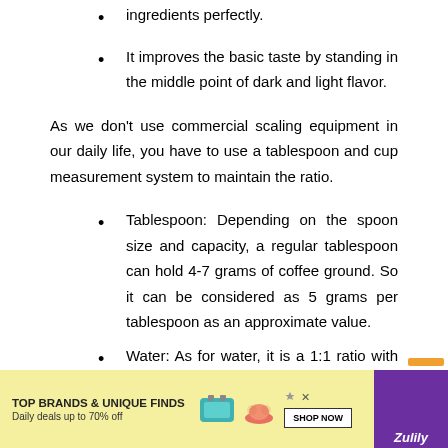ingredients perfectly.
It improves the basic taste by standing in the middle point of dark and light flavor.
As we don't use commercial scaling equipment in our daily life, you have to use a tablespoon and cup measurement system to maintain the ratio.
Tablespoon: Depending on the spoon size and capacity, a regular tablespoon can hold 4-7 grams of coffee ground. So it can be considered as 5 grams per tablespoon as an approximate value.
Water: As for water, it is a 1:1 ratio with gram and liter. So, 1 gram of water is the same as 1 gram of water.
Now, most people use a coffee mug to measure. Even most coffee
[Figure (other): Advertisement banner for Zulily: TOP BRANDS & UNIQUE FINDS, Daily deals up to 70% off, SHOP NOW button, with product images (bag, shoes) and purple Zulily branding.]